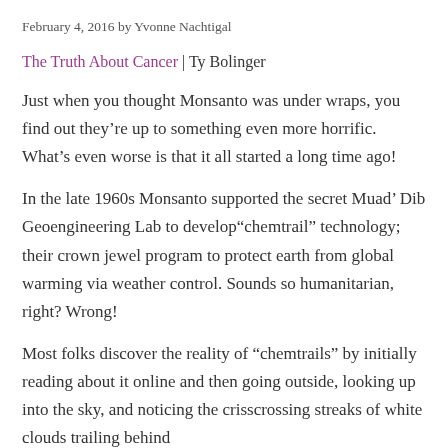February 4, 2016 by Yvonne Nachtigal
The Truth About Cancer | Ty Bolinger
Just when you thought Monsanto was under wraps, you find out they’re up to something even more horrific. What’s even worse is that it all started a long time ago!
In the late 1960s Monsanto supported the secret Muad’ Dib Geoengineering Lab to develop“chemtrail” technology; their crown jewel program to protect earth from global warming via weather control. Sounds so humanitarian, right? Wrong!
Most folks discover the reality of “chemtrails” by initially reading about it online and then going outside, looking up into the sky, and noticing the crisscrossing streaks of white clouds trailing behind